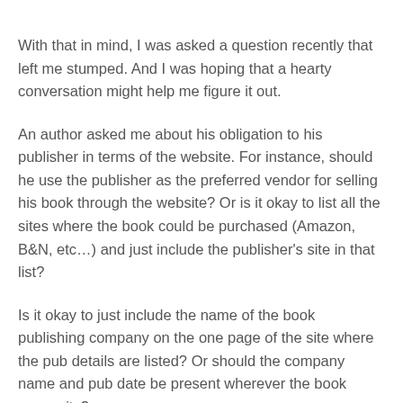With that in mind, I was asked a question recently that left me stumped. And I was hoping that a hearty conversation might help me figure it out.
An author asked me about his obligation to his publisher in terms of the website. For instance, should he use the publisher as the preferred vendor for selling his book through the website? Or is it okay to list all the sites where the book could be purchased (Amazon, B&N, etc…) and just include the publisher's site in that list?
Is it okay to just include the name of the book publishing company on the one page of the site where the pub details are listed? Or should the company name and pub date be present wherever the book cover sits?